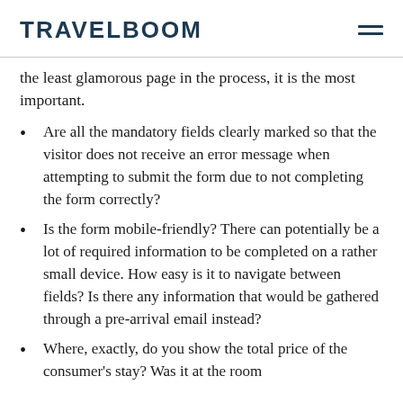TRAVELBOOM
the least glamorous page in the process, it is the most important.
Are all the mandatory fields clearly marked so that the visitor does not receive an error message when attempting to submit the form due to not completing the form correctly?
Is the form mobile-friendly? There can potentially be a lot of required information to be completed on a rather small device. How easy is it to navigate between fields? Is there any information that would be gathered through a pre-arrival email instead?
Where, exactly, do you show the total price of the consumer's stay? Was it at the room